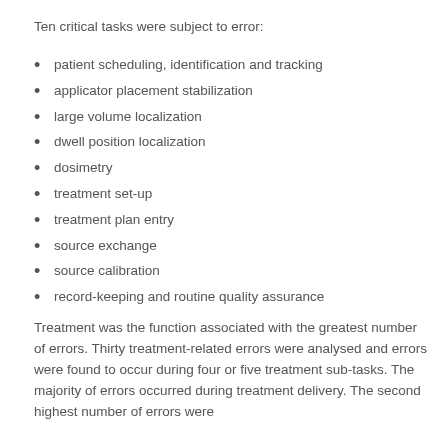Ten critical tasks were subject to error:
patient scheduling, identification and tracking
applicator placement stabilization
large volume localization
dwell position localization
dosimetry
treatment set-up
treatment plan entry
source exchange
source calibration
record-keeping and routine quality assurance
Treatment was the function associated with the greatest number of errors. Thirty treatment-related errors were analysed and errors were found to occur during four or five treatment sub-tasks. The majority of errors occurred during treatment delivery. The second highest number of errors were